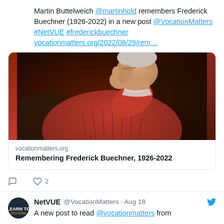Martin Buttelweich @martinhold remembers Frederick Buechner (1926-2022) in a new post @VocationMatters #NetVUE #frederickbuechner vocationmatters.org/2022/08/29/rem…
[Figure (photo): Photo of an elderly man in a red cable-knit sweater with hand raised to chin in thoughtful pose, dark background]
vocationmatters.org
Remembering Frederick Buechner, 1926-2022
NetVUE @VocationMatters · Aug 18
A new post to read @vocationmatters from